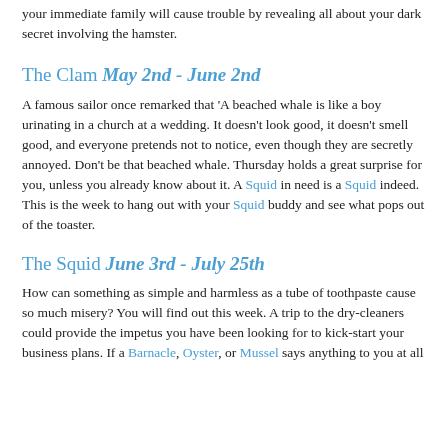your immediate family will cause trouble by revealing all about your dark secret involving the hamster.
The Clam May 2nd - June 2nd
A famous sailor once remarked that 'A beached whale is like a boy urinating in a church at a wedding. It doesn't look good, it doesn't smell good, and everyone pretends not to notice, even though they are secretly annoyed. Don't be that beached whale. Thursday holds a great surprise for you, unless you already know about it. A Squid in need is a Squid indeed. This is the week to hang out with your Squid buddy and see what pops out of the toaster.
The Squid June 3rd - July 25th
How can something as simple and harmless as a tube of toothpaste cause so much misery? You will find out this week. A trip to the dry-cleaners could provide the impetus you have been looking for to kick-start your business plans. If a Barnacle, Oyster, or Mussel says anything to you at all